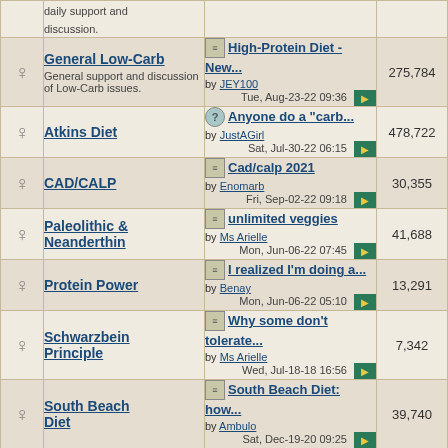|  | Forum | Last Post | Posts |
| --- | --- | --- | --- |
|  | daily support and discussion. |  |  |
|  | General Low-Carb
General support and discussion of Low-Carb issues. | High-Protein Diet - New...
by JEY100
Tue, Aug-23-22 09:36 | 275,784 |
|  | Atkins Diet | Anyone do a "carb...
by JustAGirl
Sat, Jul-30-22 06:15 | 478,722 |
|  | CAD/CALP | Cad/calp 2021
by Enomarb
Fri, Sep-02-22 09:18 | 30,355 |
|  | Paleolithic & Neanderthin | unlimited veggies
by Ms Arielle
Mon, Jun-06-22 07:45 | 41,688 |
|  | Protein Power | I realized I'm doing a...
by Benay
Mon, Jun-06-22 05:10 | 13,291 |
|  | Schwarzbein Principle | Why some don't tolerate...
by Ms Arielle
Wed, Jul-18-18 16:56 | 7,342 |
|  | South Beach Diet | South Beach Diet: how...
by Ambulo
Sat, Dec-19-20 09:25 | 39,740 |
|  | Semi Low-Carb |  |  |